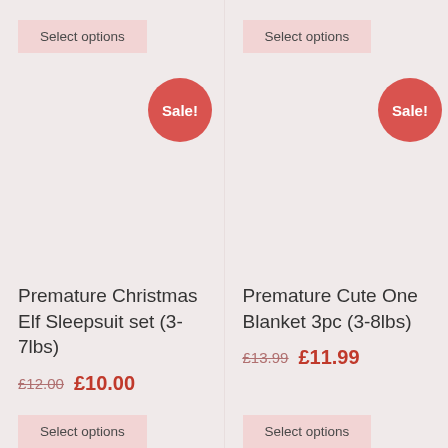Select options
Select options
Sale!
Sale!
Premature Christmas Elf Sleepsuit set (3-7lbs)
Premature Cute One Blanket 3pc (3-8lbs)
£12.00 £10.00
£13.99 £11.99
Select options
Select options